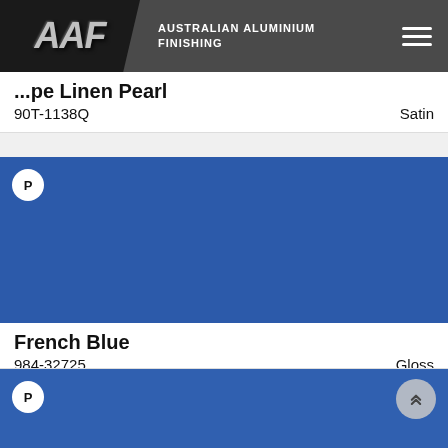AAF AUSTRALIAN ALUMINIUM FINISHING
Linen Pearl
90T-1138Q   Satin
[Figure (illustration): French Blue color swatch with P badge]
French Blue
984-32725   Gloss
[Figure (illustration): Second blue color swatch with P badge and scroll-to-top button]